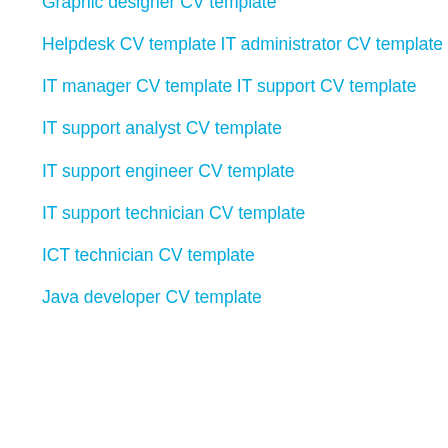Graphic designer CV template
Helpdesk CV template
IT administrator CV template
IT manager CV template
IT support CV template
IT support analyst CV template
IT support engineer CV template
IT support technician CV template
ICT technician CV template
Java developer CV template